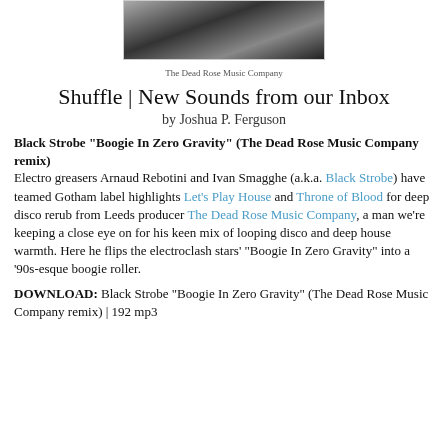[Figure (photo): Black and white photo of a person at what appears to be a DJ setup or equipment]
The Dead Rose Music Company
Shuffle | New Sounds from our Inbox
by Joshua P. Ferguson
Black Strobe "Boogie In Zero Gravity" (The Dead Rose Music Company remix)
Electro greasers Arnaud Rebotini and Ivan Smagghe (a.k.a. Black Strobe) have teamed Gotham label highlights Let's Play House and Throne of Blood for deep disco rerub from Leeds producer The Dead Rose Music Company, a man we're keeping a close eye on for his keen mix of looping disco and deep house warmth. Here he flips the electroclash stars' "Boogie In Zero Gravity" into a '90s-esque boogie roller.
DOWNLOAD: Black Strobe "Boogie In Zero Gravity" (The Dead Rose Music Company remix) | 192 mp3